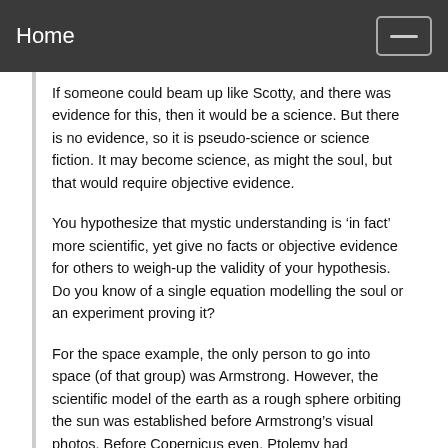Home
If someone could beam up like Scotty, and there was evidence for this, then it would be a science. But there is no evidence, so it is pseudo-science or science fiction. It may become science, as might the soul, but that would require objective evidence.
You hypothesize that mystic understanding is ‘in fact’ more scientific, yet give no facts or objective evidence for others to weigh-up the validity of your hypothesis. Do you know of a single equation modelling the soul or an experiment proving it?
For the space example, the only person to go into space (of that group) was Armstrong. However, the scientific model of the earth as a rough sphere orbiting the sun was established before Armstrong’s visual photos. Before Copernicus even, Ptolemy had measured the earth’s curvature to arrive at the orbiting spheres model, which debunked the prevailing flat earth theory. The flat earth theory was based on man’s limited perception, but science provided a more accurate model of reality.